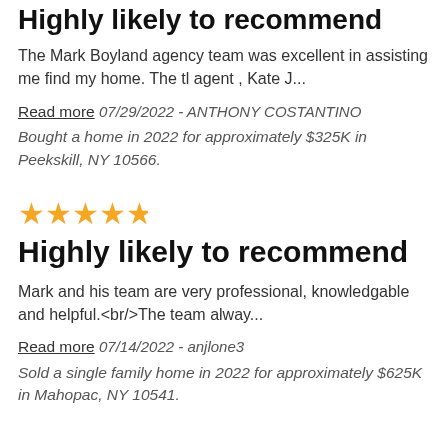Highly likely to recommend
The Mark Boyland agency team was excellent in assisting me find my home. The tl agent , Kate J...
Read more 07/29/2022 - ANTHONY COSTANTINO
Bought a home in 2022 for approximately $325K in Peekskill, NY 10566.
[Figure (other): Five gold star rating icons]
Highly likely to recommend
Mark and his team are very professional, knowledgable and helpful.<br/>The team alway...
Read more 07/14/2022 - anjlone3
Sold a single family home in 2022 for approximately $625K in Mahopac, NY 10541.